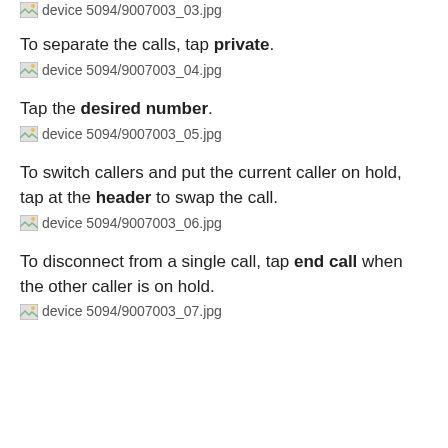[Figure (other): Broken image placeholder: device 5094/9007003_03.jpg]
To separate the calls, tap private.
[Figure (other): Broken image placeholder: device 5094/9007003_04.jpg]
Tap the desired number.
[Figure (other): Broken image placeholder: device 5094/9007003_05.jpg]
To switch callers and put the current caller on hold, tap at the header to swap the call.
[Figure (other): Broken image placeholder: device 5094/9007003_06.jpg]
To disconnect from a single call, tap end call when the other caller is on hold.
[Figure (other): Broken image placeholder: device 5094/9007003_07.jpg]